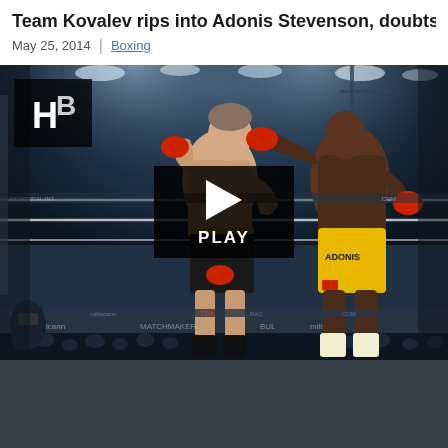Team Kovalev rips into Adonis Stevenson, doubts Sergey f…
May 25, 2014  |  Boxing
[Figure (photo): Boxing match photo showing two fighters in the ring. One fighter wearing black trunks (left) is being punched by another fighter wearing yellow trunks labeled 'ADONIS'. A PLAY video button overlay is centered on the image. An HB logo is in the top-left corner. Arena setting with bright lights and crowd visible.]